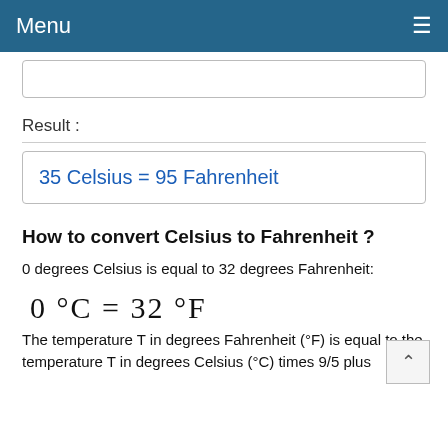Menu ≡
Result :
35 Celsius = 95 Fahrenheit
How to convert Celsius to Fahrenheit ?
0 degrees Celsius is equal to 32 degrees Fahrenheit:
The temperature T in degrees Fahrenheit (°F) is equal to the temperature T in degrees Celsius (°C) times 9/5 plus